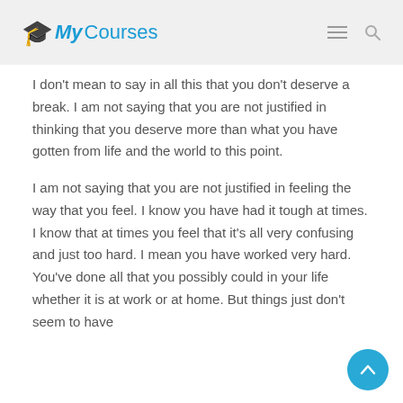My Courses
I don't mean to say in all this that you don't deserve a break. I am not saying that you are not justified in thinking that you deserve more than what you have gotten from life and the world to this point.
I am not saying that you are not justified in feeling the way that you feel. I know you have had it tough at times. I know that at times you feel that it's all very confusing and just too hard. I mean you have worked very hard. You've done all that you possibly could in your life whether it is at work or at home. But things just don't seem to have